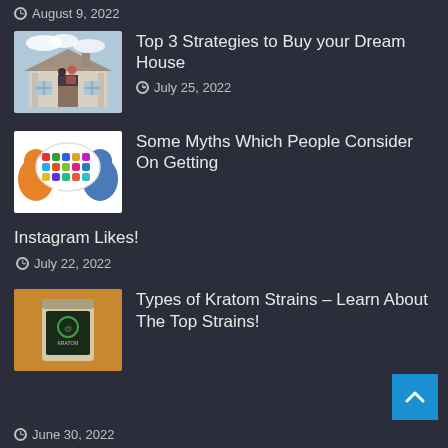August 9, 2022
[Figure (photo): Couple standing in front of a large house, viewed from behind]
Top 3 Strategies to Buy your Dream House
July 25, 2022
[Figure (illustration): Colorful social media icons arranged inside a speech bubble shape over a silhouette of a person's head]
Some Myths Which People Consider On Getting Instagram Likes!
July 22, 2022
[Figure (photo): A bag/package of Kratom product]
Types of Kratom Strains – Learn About The Top Strains!
June 30, 2022